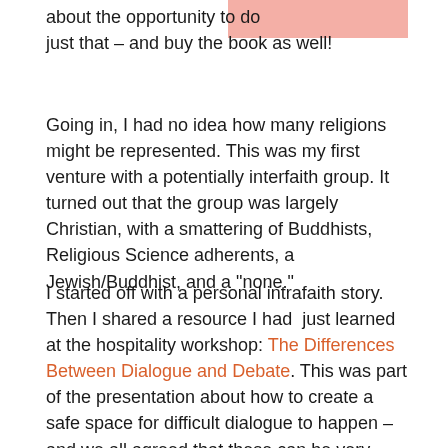about the opportunity to do just that – and buy the book as well!
Going in, I had no idea how many religions might be represented. This was my first venture with a potentially interfaith group. It turned out that the group was largely Christian, with a smattering of Buddhists, Religious Science adherents, a Jewish/Buddhist, and a “none.”
I started off with a personal intrafaith story. Then I shared a resource I had just learned at the hospitality workshop: The Differences Between Dialogue and Debate. This was part of the presentation about how to create a safe space for difficult dialogue to happen – and we all agreed that these can be very difficult conversations for us to be part of. Too often our buttons get pushed and our “non-anxious presence” (I prefer “non-reactive presence”) goes out the window.